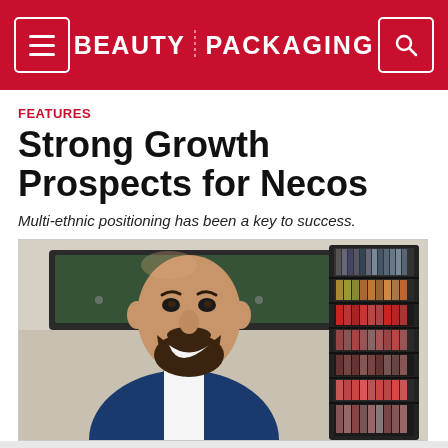BEAUTY PACKAGING
FEATURES
Strong Growth Prospects for Necos
Multi-ethnic positioning has been a key to success.
[Figure (photo): A smiling bearded man in a dark navy suit jacket and white shirt, with a cosmetics display shelf visible in the background to his right, and a Samsung television mounted on the wall behind him.]